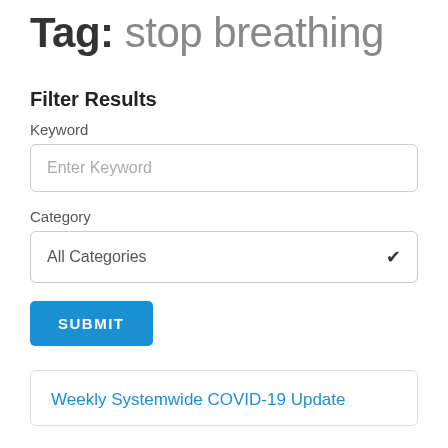Tag: stop breathing
Filter Results
Keyword
Enter Keyword
Category
All Categories
SUBMIT
Weekly Systemwide COVID-19 Update